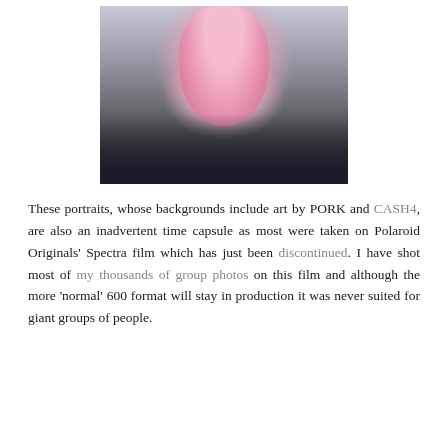[Figure (photo): A photograph showing a person wearing a pink strapless dress or gown, surrounded by other people in a dark crowd/event setting. The photo appears to be taken at a social event or party.]
These portraits, whose backgrounds include art by PORK and CASH4, are also an inadvertent time capsule as most were taken on Polaroid Originals' Spectra film which has just been discontinued. I have shot most of my thousands of group photos on this film and although the more 'normal' 600 format will stay in production it was never suited for giant groups of people.